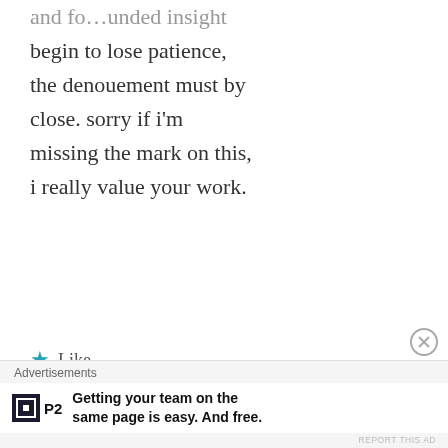begin to lose patience, the denouement must by close. sorry if i'm missing the mark on this, i really value your work.
★ Like
Robert Gore | December 7, 2019 at 5:33 am | Reply
[Figure (photo): Avatar photo of Robert Gore, a man in a dark setting]
Thank you. I don't think one can be too cynical about the current government
Advertisements
Getting your team on the same page is easy. And free.